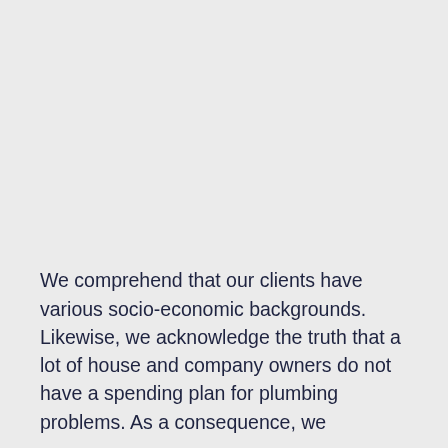We comprehend that our clients have various socio-economic backgrounds. Likewise, we acknowledge the truth that a lot of house and company owners do not have a spending plan for plumbing problems. As a consequence, we